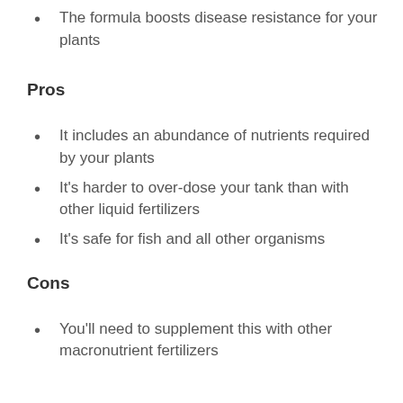The formula boosts disease resistance for your plants
Pros
It includes an abundance of nutrients required by your plants
It's harder to over-dose your tank than with other liquid fertilizers
It's safe for fish and all other organisms
Cons
You'll need to supplement this with other macronutrient fertilizers